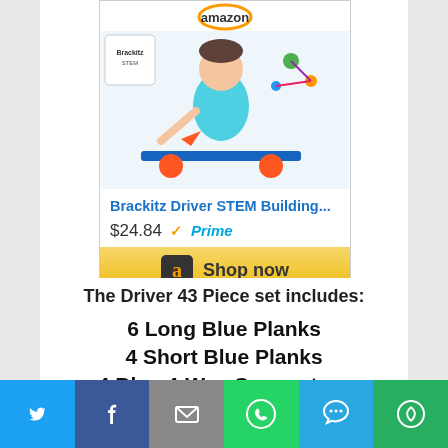[Figure (screenshot): Amazon product widget showing Brackitz Driver STEM Building toy with a child playing, priced at $24.84 with Prime, and a Shop now button]
The Driver 43 Piece set includes:
6 Long Blue Planks
4 Short Blue Planks
4 Blue 4-Way Connectors
2 Orange 4-Way Connectors
2 Red 3-Way Connectors
4 Yellow 3-Way Connectors
[Figure (screenshot): Social media sharing bar at bottom with Twitter, Facebook, Email, WhatsApp, SMS, and More buttons]